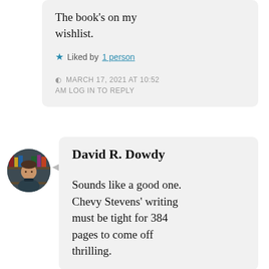The book's on my wishlist.
★ Liked by 1 person
MARCH 17, 2021 AT 10:52 AM LOG IN TO REPLY
David R. Dowdy
Sounds like a good one. Chevy Stevens' writing must be tight for 384 pages to come off thrilling.